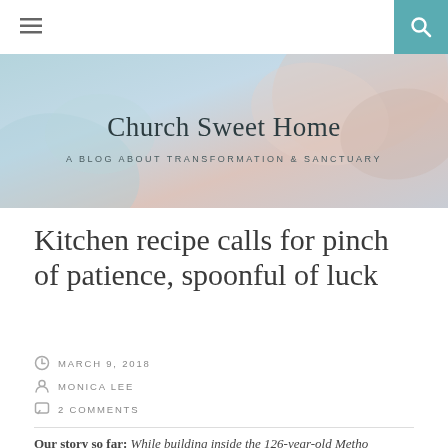Church Sweet Home — A BLOG ABOUT TRANSFORMATION & SANCTUARY
Kitchen recipe calls for pinch of patience, spoonful of luck
MARCH 9, 2018
MONICA LEE
2 COMMENTS
Our story so far: While building inside the 126-year-old Methodist church we were renovating into a home